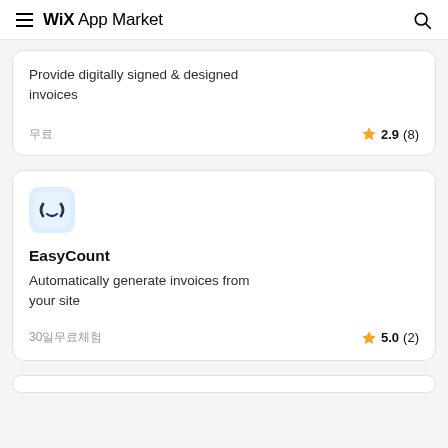WiX App Market
Provide digitally signed & designed invoices
무료  2.9 (8)
[Figure (logo): EasyCount app icon — rounded rectangle with a smiling face / bracket symbol in dark blue on light blue background]
EasyCount
Automatically generate invoices from your site
30일 무료 체험  5.0 (2)